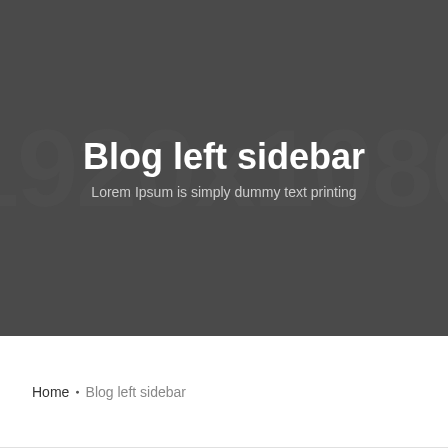[Figure (illustration): Dark gray hero banner with large watermark text '1920x1080' faintly visible in the background, centered title 'Blog left sidebar' in white bold text, and subtitle 'Lorem Ipsum is simply dummy text printing' in light gray below.]
Blog left sidebar
Lorem Ipsum is simply dummy text printing
Home • Blog left sidebar